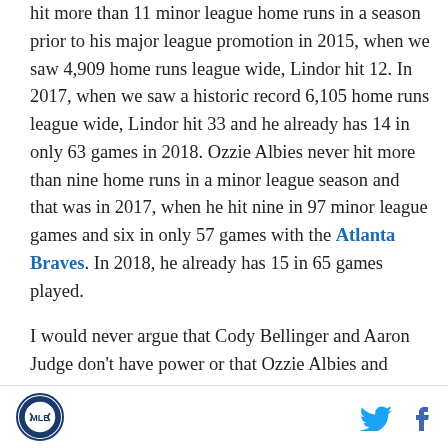hit more than 11 minor league home runs in a season prior to his major league promotion in 2015, when we saw 4,909 home runs league wide, Lindor hit 12. In 2017, when we saw a historic record 6,105 home runs league wide, Lindor hit 33 and he already has 14 in only 63 games in 2018. Ozzie Albies never hit more than nine home runs in a minor league season and that was in 2017, when he hit nine in 97 minor league games and six in only 57 games with the Atlanta Braves. In 2018, he already has 15 in 65 games played.

I would never argue that Cody Bellinger and Aaron Judge don't have power or that Ozzie Albies and Francisco Lindor were going to be bad players. I think
Logo | Twitter | Facebook